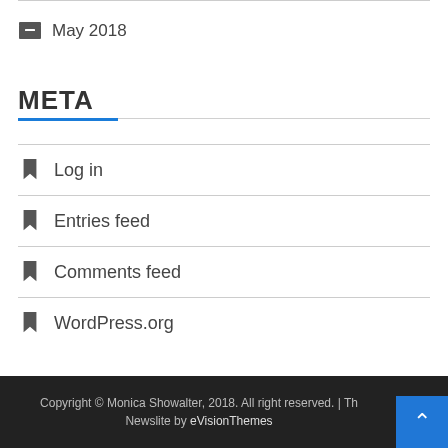May 2018
META
Log in
Entries feed
Comments feed
WordPress.org
Copyright © Monica Showalter, 2018. All right reserved. | Th Newslite by eVisionThemes